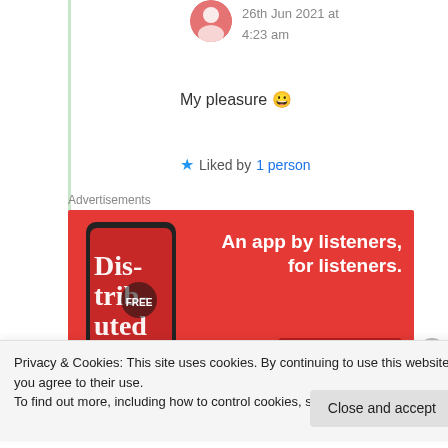26th Jun 2021 at 4:23 am
My pleasure 😀
★ Liked by 1 person
Advertisements
[Figure (illustration): Advertisement banner for a podcast app. Red background with a phone showing 'Dis-trib-uted' text and the slogan 'An app by listeners, for listeners.' with a 'Download now' button.]
Privacy & Cookies: This site uses cookies. By continuing to use this website, you agree to their use.
To find out more, including how to control cookies, see here: Cookie Policy
Close and accept